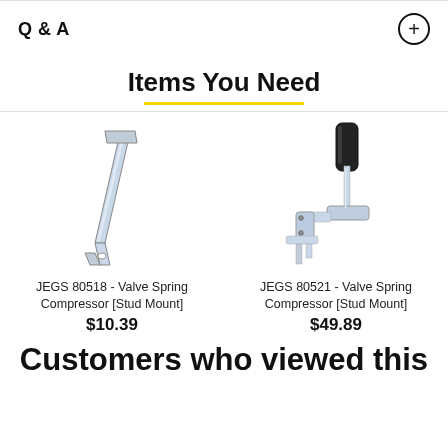Q & A
Items You Need
[Figure (photo): JEGS 80518 - Valve Spring Compressor (Stud Mount), a flat metal bar tool with a forked end]
JEGS 80518 - Valve Spring Compressor [Stud Mount]
$10.39
[Figure (photo): JEGS 80521 - Valve Spring Compressor (Stud Mount), a ratchet-style handle tool with chrome body and black grip]
JEGS 80521 - Valve Spring Compressor [Stud Mount]
$49.89
Customers who viewed this